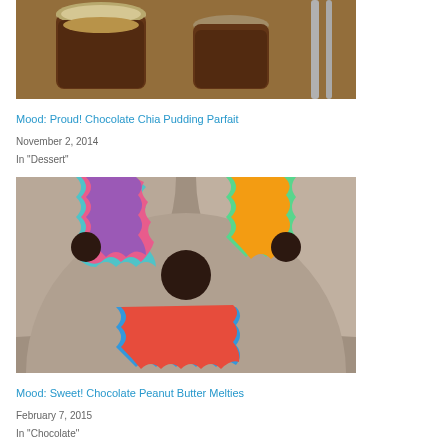[Figure (photo): Two glass jars of chocolate chia pudding parfait on a wooden surface with a utensil visible on the right]
Mood: Proud! Chocolate Chia Pudding Parfait
November 2, 2014
In "Dessert"
[Figure (photo): Colorful cupcake liners arranged in a flower/snowflake pattern on a large chocolate surface]
Mood: Sweet! Chocolate Peanut Butter Melties
February 7, 2015
In "Chocolate"